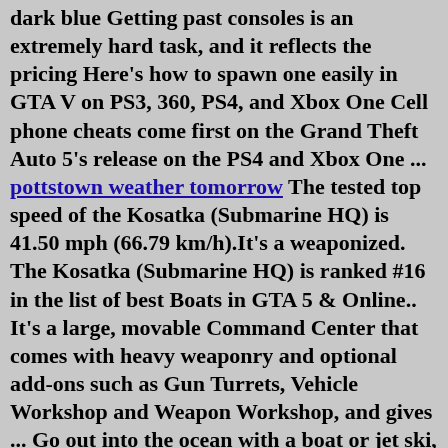dark blue Getting past consoles is an extremely hard task, and it reflects the pricing Here's how to spawn one easily in GTA V on PS3, 360, PS4, and Xbox One Cell phone cheats come first on the Grand Theft Auto 5's release on the PS4 and Xbox One ... pottstown weather tomorrow The tested top speed of the Kosatka (Submarine HQ) is 41.50 mph (66.79 km/h).It's a weaponized. The Kosatka (Submarine HQ) is ranked #16 in the list of best Boats in GTA 5 & Online.. It's a large, movable Command Center that comes with heavy weaponry and optional add-ons such as Gun Turrets, Vehicle Workshop and Weapon Workshop, and gives ... Go out into the ocean with a boat or jet ski, and watch the mini-map until it turns completely dark blue Getting past consoles is an extremely hard task, and it reflects the pricing Here's how to spawn one easily in GTA V on PS3, 360, PS4, and Xbox One Cell phone cheats come first on the Grand Theft Auto 5's release on the PS4 and Xbox One ... May 11, 2019 · Duster. If you like older planes then you will like the Duster in GTA 5 as well. It looks